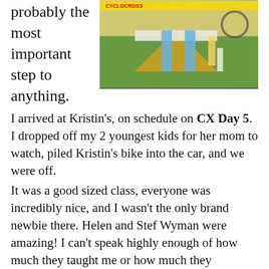probably the most important step to anything.
[Figure (photo): Cyclist jumping over a barrier obstacle on a grass course at a cyclocross event, with a yellow banner visible. Photo courtesy of Russ Campbell / russcam.com]
photo courtesy of Russ Campbell / russcam.com
I arrived at Kristin's, on schedule on CX Day 5. I dropped off my 2 youngest kids for her mom to watch, piled Kristin's bike into the car, and we were off.
It was a good sized class, everyone was incredibly nice, and I wasn't the only brand newbie there. Helen and Stef Wyman were amazing! I can't speak highly enough of how much they taught me or how much they contributed to my confidence level. Of